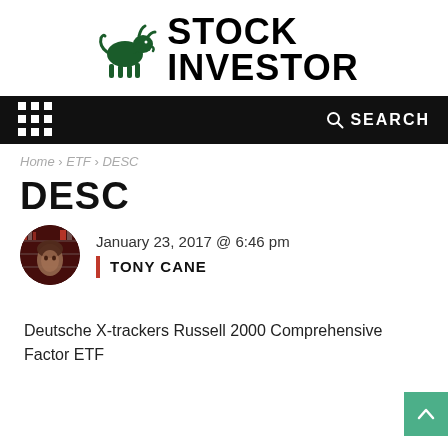[Figure (logo): Stock Investor logo with green bull silhouette and bold black STOCK INVESTOR text]
[Figure (infographic): Black navigation bar with white grid/menu icon on left and magnifying glass SEARCH on right]
Home › ETF › DESC
DESC
[Figure (photo): Circular author avatar photo showing a person in front of magazine/TIME cover background, red tones]
January 23, 2017 @ 6:46 pm
TONY CANE
Deutsche X-trackers Russell 2000 Comprehensive Factor ETF